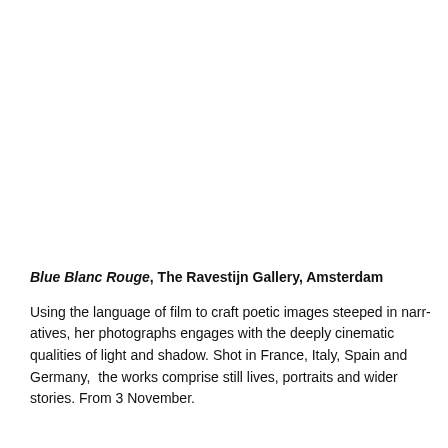Blue Blanc Rouge, The Ravestijn Gallery, Amsterdam
Using the language of film to craft poetic images steeped in narr... photographs engages with the deeply cinematic qualities of ligh... France, Italy, Spain and Germany,  the works comprise still lives, wider stories. From 3 November.